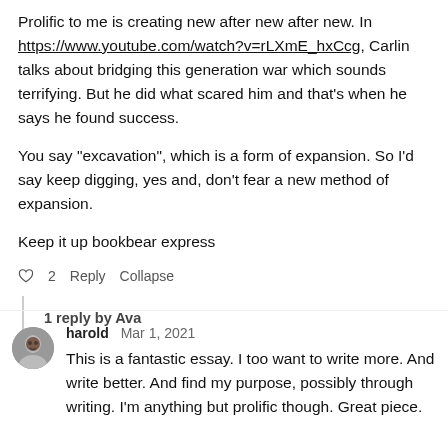Prolific to me is creating new after new after new. In https://www.youtube.com/watch?v=rLXmE_hxCcg, Carlin talks about bridging this generation war which sounds terrifying. But he did what scared him and that's when he says he found success.
You say "excavation", which is a form of expansion. So I'd say keep digging, yes and, don't fear a new method of expansion.
Keep it up bookbear express
♡ 2   Reply   Collapse
1 reply by Ava
harold   Mar 1, 2021
This is a fantastic essay. I too want to write more. And write better. And find my purpose, possibly through writing. I'm anything but prolific though. Great piece.